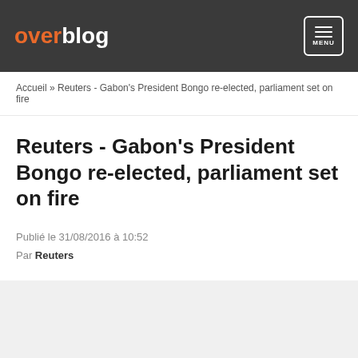overblog MENU
Accueil » Reuters - Gabon's President Bongo re-elected, parliament set on fire
Reuters - Gabon's President Bongo re-elected, parliament set on fire
Publié le 31/08/2016 à 10:52
Par Reuters